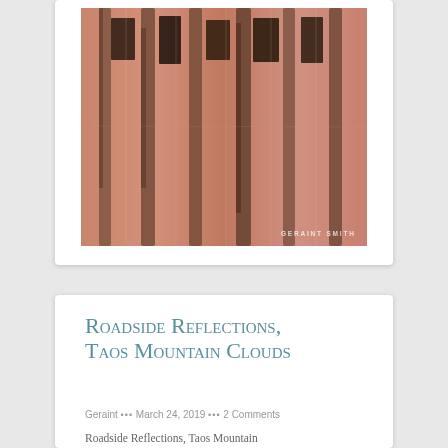[Figure (photo): Photograph of a terracotta/salmon-colored adobe wall with dark vertical streaks and rectangular window-like openings, watermarked 'GERAINT SMITH' in the lower right corner.]
Roadside Reflections, Taos Mountain Clouds
Geraint ••• March 24, 2019 ••• 2 Comments
Roadside Reflections, Taos Mountain